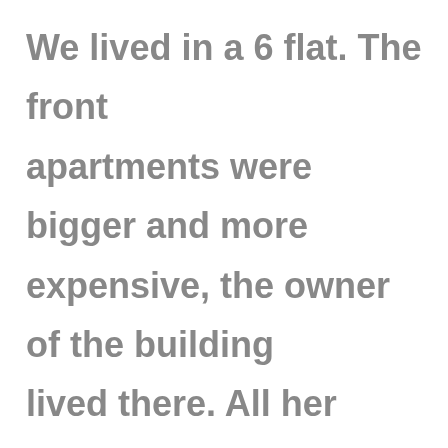We lived in a 6 flat. The front apartments were bigger and more expensive, the owner of the building lived there. All her furniture matched and all of it was blonde wood. We lived in the courtyard. One bedroom apartments. Some of